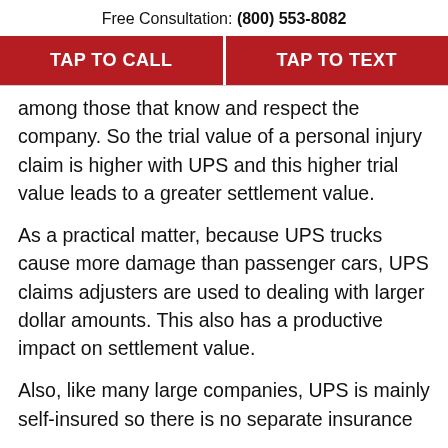Free Consultation: (800) 553-8082
TAP TO CALL
TAP TO TEXT
among those that know and respect the company. So the trial value of a personal injury claim is higher with UPS and this higher trial value leads to a greater settlement value.
As a practical matter, because UPS trucks cause more damage than passenger cars, UPS claims adjusters are used to dealing with larger dollar amounts. This also has a productive impact on settlement value.
Also, like many large companies, UPS is mainly self-insured so there is no separate insurance company to negotiate with, which is...